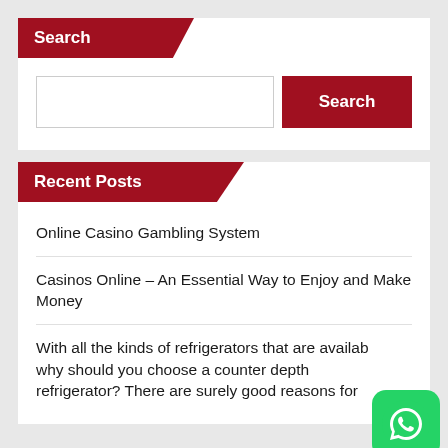Search
Search
Recent Posts
Online Casino Gambling System
Casinos Online – An Essential Way to Enjoy and Make Money
With all the kinds of refrigerators that are available, why should you choose a counter depth refrigerator? There are surely good reasons for